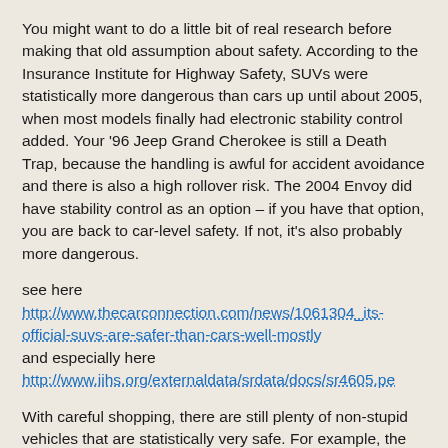You might want to do a little bit of real research before making that old assumption about safety. According to the Insurance Institute for Highway Safety, SUVs were statistically more dangerous than cars up until about 2005, when most models finally had electronic stability control added. Your '96 Jeep Grand Cherokee is still a Death Trap, because the handling is awful for accident avoidance and there is also a high rollover risk. The 2004 Envoy did have stability control as an option – if you have that option, you are back to car-level safety. If not, it's also probably more dangerous.
see here http://www.thecarconnection.com/news/1061304_its-official-suvs-are-safer-than-cars-well-mostly and especially here http://www.iihs.org/externaldata/srdata/docs/sr4605.pe
With careful shopping, there are still plenty of non-stupid vehicles that are statistically very safe. For example, the Honda Accord is several times safer than the Cadillac Escalade. CR-V is a good SUV that does not get overly shitty gas mileage as well.
Finally, if you really do care about safety, then take advanced driver training not seen driving done to